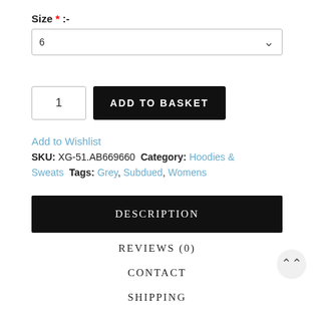Size * :-
6 (dropdown select)
1  ADD TO BASKET
Add to Wishlist
SKU: XG-51.AB669660 Category: Hoodies & Sweats Tags: Grey, Subdued, Womens
DESCRIPTION
REVIEWS (0)
CONTACT
SHIPPING